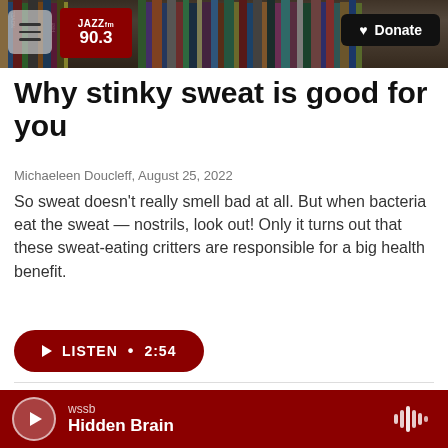JAZZ 90.3 | Donate
Why stinky sweat is good for you
Michaeleen Doucleff,  August 25, 2022
So sweat doesn't really smell bad at all. But when bacteria eat the sweat — nostrils, look out! Only it turns out that these sweat-eating critters are responsible for a big health benefit.
[Figure (other): Listen button: LISTEN • 2:54]
[Figure (photo): Photo of gloved hands working with medical/lab equipment and an arm, partially visible]
wssb | Hidden Brain (audio player bar)